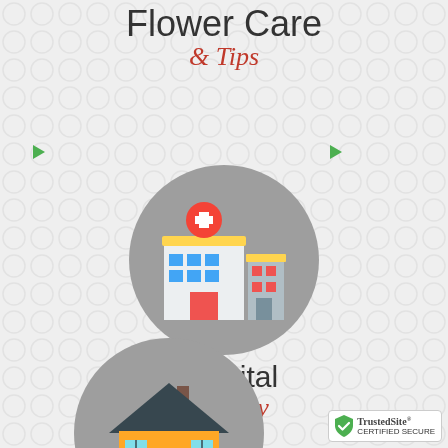Flower Care & Tips
[Figure (illustration): Hospital building flat icon inside a grey circle]
Hospital Delivery
[Figure (illustration): House flat icon inside a grey circle (partially visible at bottom)]
[Figure (logo): TrustedSite Certified Secure badge in bottom right corner]